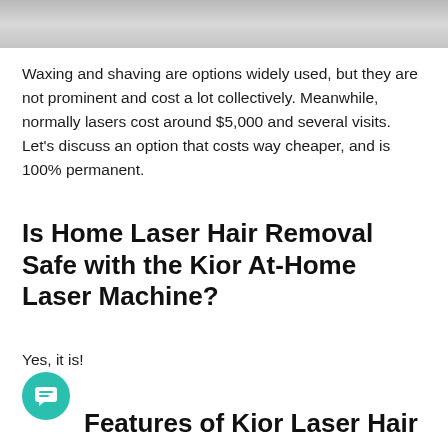[Figure (photo): Partial photo strip at the top of the page showing a person, cropped to show only the upper portion]
Waxing and shaving are options widely used, but they are not prominent and cost a lot collectively. Meanwhile, normally lasers cost around $5,000 and several visits. Let's discuss an option that costs way cheaper, and is 100% permanent.
Is Home Laser Hair Removal Safe with the Kior At-Home Laser Machine?
Yes, it is!
[Figure (illustration): Teal/green circular chat button icon with message bubble symbol]
Features of Kior Laser Hair